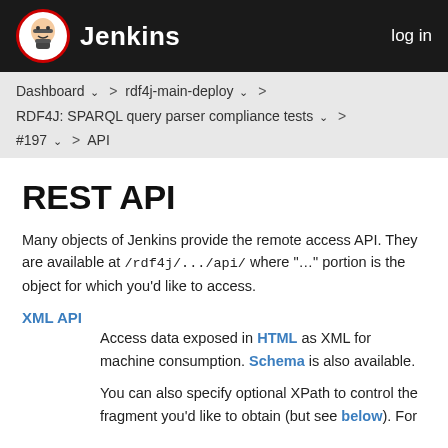Jenkins  log in
Dashboard > rdf4j-main-deploy > RDF4J: SPARQL query parser compliance tests > #197 > API
REST API
Many objects of Jenkins provide the remote access API. They are available at /rdf4j/.../api/ where "..." portion is the object for which you'd like to access.
XML API
Access data exposed in HTML as XML for machine consumption. Schema is also available.
You can also specify optional XPath to control the fragment you'd like to obtain (but see below). For